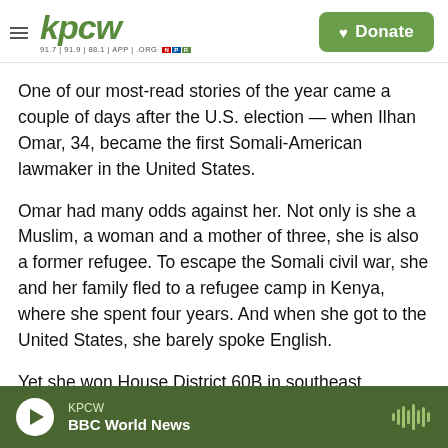KPCW — Donate
One of our most-read stories of the year came a couple of days after the U.S. election — when Ilhan Omar, 34, became the first Somali-American lawmaker in the United States.
Omar had many odds against her. Not only is she a Muslim, a woman and a mother of three, she is also a former refugee. To escape the Somali civil war, she and her family fled to a refugee camp in Kenya, where she spent four years. And when she got to the United States, she barely spoke English.
Yet she won House District 60B in southeast
KPCW — BBC World News